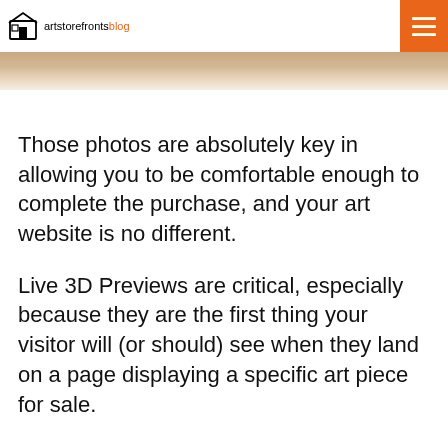artstorefronts blog
[Figure (photo): Partial view of a room or artwork scene, showing warm beige/tan tones, visible at the top of the page below the navigation bar.]
Those photos are absolutely key in allowing you to be comfortable enough to complete the purchase, and your art website is no different.
Live 3D Previews are critical, especially because they are the first thing your visitor will (or should) see when they land on a page displaying a specific art piece for sale.